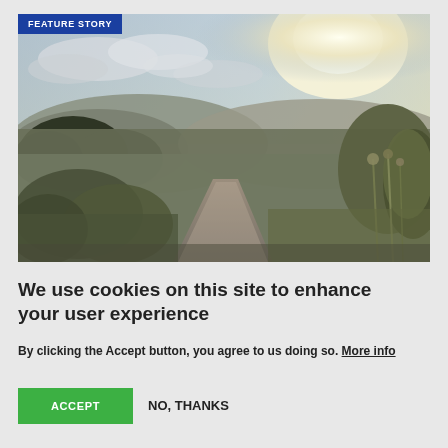[Figure (photo): Outdoor landscape photo showing a dirt/gravel path leading into the distance, flanked by wild grasses and shrubs on both sides, with hills in the background and a bright sky with clouds. A 'FEATURE STORY' badge overlay appears in the top-left corner of the image.]
We use cookies on this site to enhance your user experience
By clicking the Accept button, you agree to us doing so. More info
ACCEPT
NO, THANKS